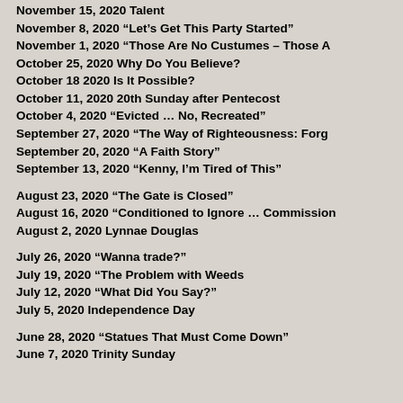November 15, 2020   Talent
November 8, 2020  “Let’s Get This Party Started”
November 1, 2020  “Those Are No Custumes – Those A
October 25, 2020   Why Do You Believe?
October 18 2020  Is It Possible?
October 11, 2020  20th Sunday after Pentecost
October 4, 2020 “Evicted … No, Recreated”
September 27, 2020 “The Way of Righteousness:  Forg
September 20, 2020  “A Faith Story”
September 13, 2020 “Kenny, I’m Tired of This”
August 23, 2020 “The Gate is Closed”
August 16, 2020 “Conditioned to Ignore … Commission
August 2, 2020 Lynnae Douglas
July 26, 2020 “Wanna trade?”
July 19, 2020 “The Problem with Weeds
July 12, 2020 “What Did You Say?”
July 5, 2020 Independence Day
June 28, 2020 “Statues That Must Come Down”
June 7, 2020 Trinity Sunday